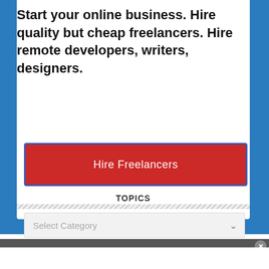Start your online business. Hire quality but cheap freelancers. Hire remote developers, writers, designers.
Hire Freelancers
TOPICS
Select Category
[Figure (screenshot): 1-800-flowers.com advertisement banner with plant shop promotion, 'Now in the Plant Shop - Fresh picks for summer', with SEE WHAT'S NEW button]